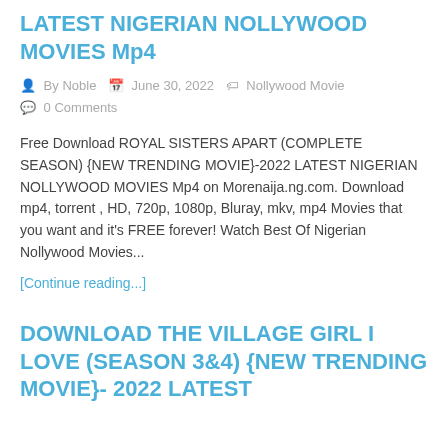LATEST NIGERIAN NOLLYWOOD MOVIES Mp4
By Noble   June 30, 2022   Nollywood Movie   0 Comments
Free Download ROYAL SISTERS APART (COMPLETE SEASON) {NEW TRENDING MOVIE}-2022 LATEST NIGERIAN NOLLYWOOD MOVIES Mp4 on Morenaija.ng.com. Download mp4, torrent , HD, 720p, 1080p, Bluray, mkv, mp4 Movies that you want and it's FREE forever! Watch Best Of Nigerian Nollywood Movies...
[Continue reading...]
DOWNLOAD THE VILLAGE GIRL I LOVE (SEASON 3&4) {NEW TRENDING MOVIE}-2022 LATEST...